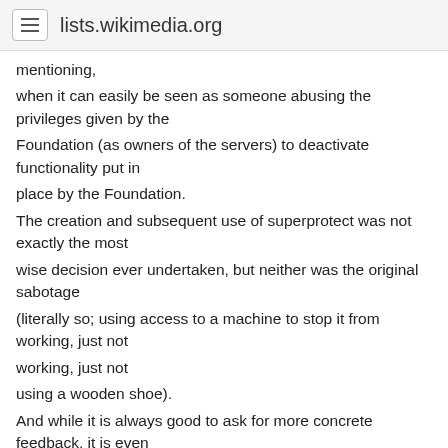lists.wikimedia.org
mentioning,
when it can easily be seen as someone abusing the privileges given by the
Foundation (as owners of the servers) to deactivate functionality put in
place by the Foundation.
The creation and subsequent use of superprotect was not exactly the most
wise decision ever undertaken, but neither was the original sabotage
(literally so; using access to a machine to stop it from working, just not
using a wooden shoe).
And while it is always good to ask for more concrete feedback, it is even
better to offer it to begin with.
...